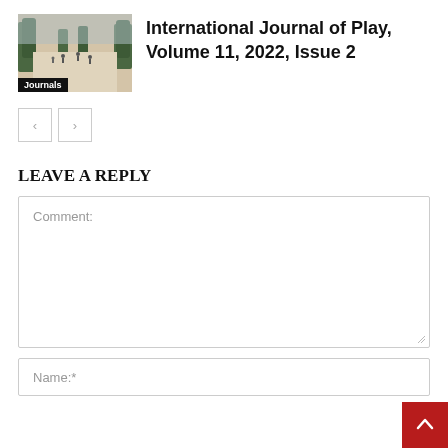[Figure (photo): Outdoor plaza/park scene with people walking, trees visible, with a 'Journals' label overlay at bottom left]
International Journal of Play, Volume 11, 2022, Issue 2
[Figure (other): Navigation arrow buttons: left arrow and right arrow]
LEAVE A REPLY
Comment:
Name:*